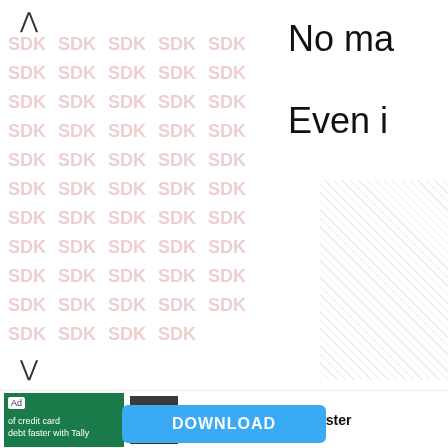[Figure (screenshot): Left panel with watermark grid of 'SDK' repeated text in pink/light red, with up and down navigation arrows]
No ma
Even i
[Figure (other): Dotted/hatched pattern box on right side]
[Figure (screenshot): Ad bar: green ad image with text 'of credit card debt faster with Tally', Tally app icon, and text 'Tally: PayOff Debt Faster']
Tally: PayOff Debt Faster
DOWNLOAD